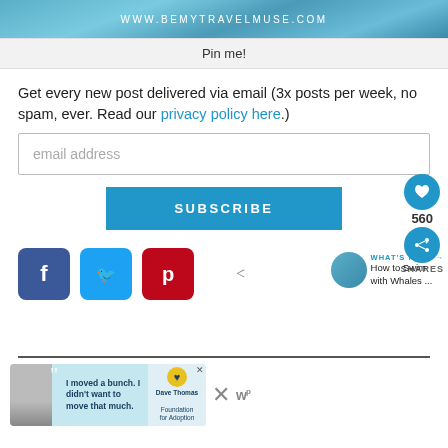[Figure (illustration): Blue ocean/water texture banner with text 'WWW.BEMYTRAVELMUSE.COM' in white uppercase letters]
Pin me!
Get every new post delivered via email (3x posts per week, no spam, ever. Read our privacy policy here.)
[Figure (screenshot): Email address input field (text box)]
[Figure (screenshot): Blue SUBSCRIBE button]
[Figure (infographic): Social share buttons: Facebook (blue), Twitter (light blue), Pinterest (red). Right side: heart icon with 560 count, share icon, SHARES label, WHAT'S NEXT arrow, How to Swim with Whales...]
[Figure (infographic): Advertisement banner: boy photo, quote 'I moved a bunch. I didn't want to move that much.' Dave Thomas Foundation for Adoption logo, close X button. Plus X button and W logo on right.]